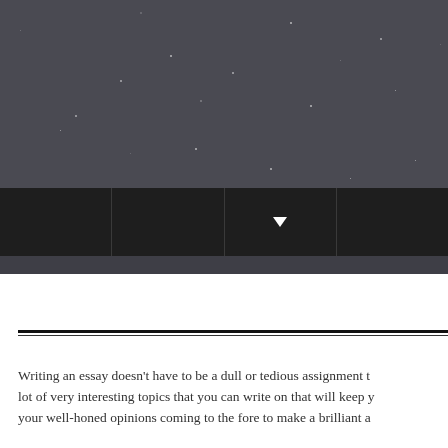[Figure (screenshot): Dark header banner with starfield/speckled background (dark gray #4a4a52) with small white dot particles scattered across it, forming a night-sky effect.]
[Figure (screenshot): Dark navigation bar with 4 sections separated by vertical lines; the third section has a white downward-pointing triangle/arrow indicating a dropdown menu.]
Writing an essay doesn't have to be a dull or tedious assignment t... lot of very interesting topics that you can write on that will keep y... your well-honed opinions coming to the fore to make a brilliant a... Following is a list of 20 suggestions for topics on the sensitive, b...